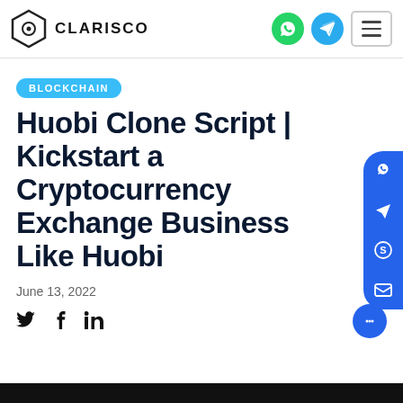CLARISCO
BLOCKCHAIN
Huobi Clone Script | Kickstart a Cryptocurrency Exchange Business Like Huobi
June 13, 2022
[Figure (infographic): Social share icons row with Twitter, Facebook, and LinkedIn icons]